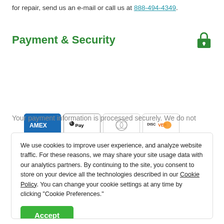for repair, send us an e-mail or call us at 888-494-4349.
Payment & Security
[Figure (other): Payment method icons: AMEX, Apple Pay, Diners Club, Discover, Meta Pay, Google Pay, Mastercard, PayPal, Shop Pay, Venmo, Visa]
Your payment information is processed securely. We do not
We use cookies to improve user experience, and analyze website traffic. For these reasons, we may share your site usage data with our analytics partners. By continuing to the site, you consent to store on your device all the technologies described in our Cookie Policy. You can change your cookie settings at any time by clicking "Cookie Preferences."